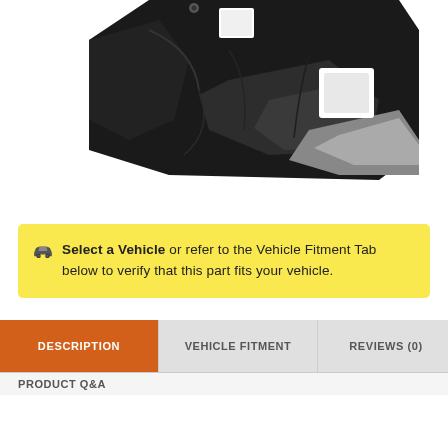[Figure (photo): Close-up photo of a black metal automotive floor pan or trunk floor panel, showing stamped metal construction with openings and mounting points]
Select a Vehicle or refer to the Vehicle Fitment Tab below to verify that this part fits your vehicle.
| DESCRIPTION | VEHICLE FITMENT | REVIEWS (0) |  |
| --- | --- | --- | --- |
| PRODUCT Q&A |  |  |  |